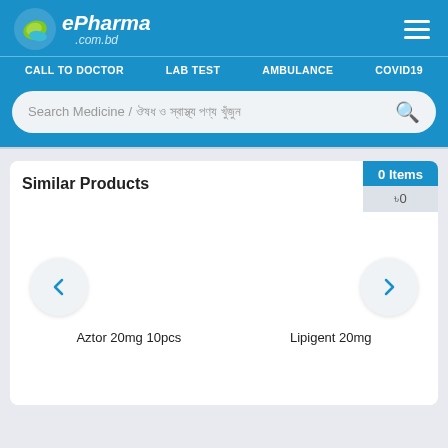[Figure (logo): ePharma .com.bd logo with green leaf icon on blue header background]
CALL TO DOCTOR   LAB TEST   AMBULANCE   COVID19
Search Medicine / ঔষধ ও স্বাস্থ্য পণ্য খুঁজুন
Similar Products
0 Items
৳0
Aztor 20mg 10pcs
Lipigent 20mg